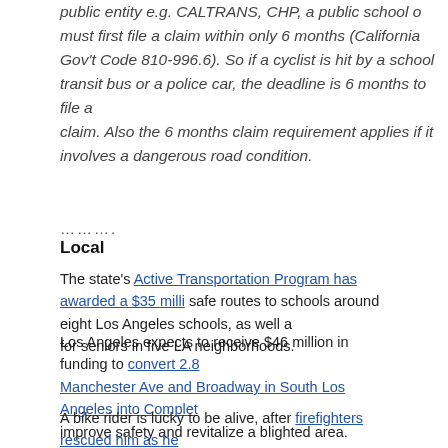public entity e.g. CALTRANS, CHP, a public school o... must first file a claim within only 6 months (California Gov't Code 810-996.6). So if a cyclist is hit by a school transit bus or a police car, the deadline is 6 months to file a claim. Also the 6 months claim requirement applies if the case involves a dangerous road condition.
..........
Local
The state's Active Transportation Program has awarded a $35 million... safe routes to schools around eight Los Angeles schools, as well as improvements for seniors in five LA neighborhoods.
Los Angeles expects to receive $46 million in funding to convert 2.8 miles of Manchester Ave and Broadway in South Los Angeles into Complete Streets to improve safety and revitalize a blighted area.
A bike rider is lucky to be alive, after firefighters rescued him as he became trapped with his bike in the rain-swollen LA River near Griffith Park yesterday...